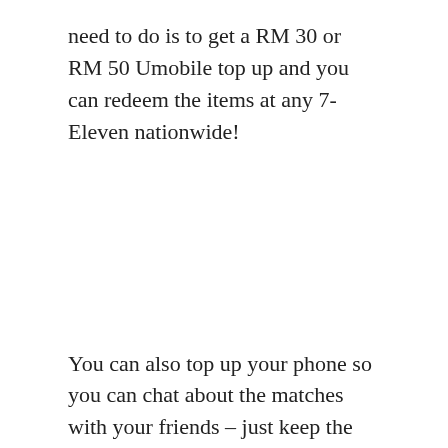need to do is to get a RM 30 or RM 50 Umobile top up and you can redeem the items at any 7-Eleven nationwide!
You can also top up your phone so you can chat about the matches with your friends – just keep the Umobile top up card so the barcode can be scanned to provide you with #TheBestFree snacks! It's so convenient to redeem too, since there's a 7-Eleven around every corner! This